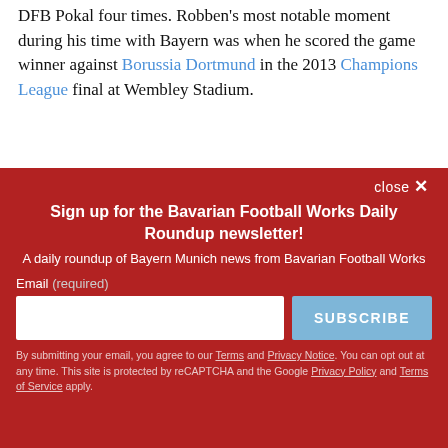DFB Pokal four times. Robben's most notable moment during his time with Bayern was when he scored the game winner against Borussia Dortmund in the 2013 Champions League final at Wembley Stadium.
close X
Sign up for the Bavarian Football Works Daily Roundup newsletter!
A daily roundup of Bayern Munich news from Bavarian Football Works
Email (required)
SUBSCRIBE
By submitting your email, you agree to our Terms and Privacy Notice. You can opt out at any time. This site is protected by reCAPTCHA and the Google Privacy Policy and Terms of Service apply.